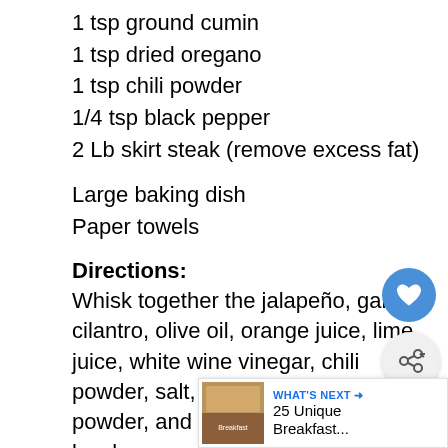1 tsp ground cumin
1 tsp dried oregano
1 tsp chili powder
1/4 tsp black pepper
2 Lb skirt steak (remove excess fat)
Large baking dish
Paper towels
Directions:
Whisk together the jalapeño, garlic, cilantro, olive oil, orange juice, lime juice, white wine vinegar, chili powder, salt, cumin, oregano, chili powder, and black pepper in a large bowl.
Add the steak in the baking dish and po marinade on top.
Cover the baking dish.